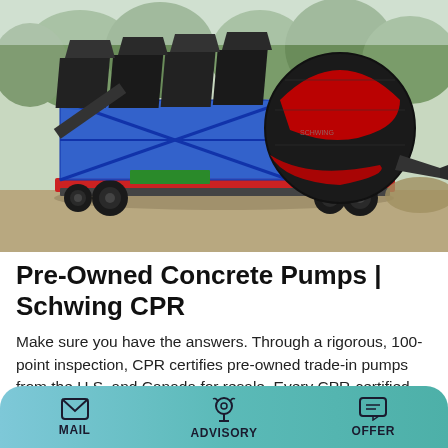[Figure (photo): A large mobile concrete mixer / batching plant on a trailer, with blue steel frame structure holding aggregate hoppers on the left and a large black and red drum mixer on the right, parked on a dirt/gravel area with trees in background.]
Pre-Owned Concrete Pumps | Schwing CPR
Make sure you have the answers. Through a rigorous, 100-point inspection, CPR certifies pre-owned trade-in pumps from the U.S. and Canada for resale. Every CPR-certified pump has a 30-day limited warranty in North America with all inspection reports made available. Non-certified pumps are
MAIL   ADVISORY   OFFER